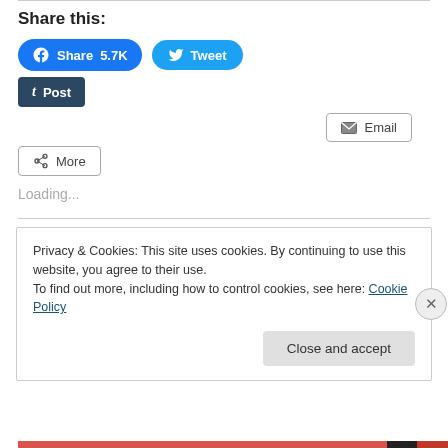Share this:
[Figure (screenshot): Social share buttons: Facebook Share 5.7K, Tweet, Tumblr Post, Email, More]
Loading...
Privacy & Cookies: This site uses cookies. By continuing to use this website, you agree to their use.
To find out more, including how to control cookies, see here: Cookie Policy
Close and accept